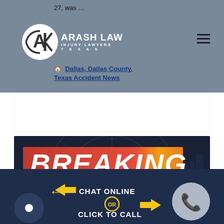27, was …
[Figure (logo): Arash Law Injury Lawyers Texas logo with AK monogram in white circle]
Dallas, Dallas County, Texas Accident News
[Figure (screenshot): Breaking Live News graphic with red and teal banner on dark background]
[Figure (infographic): Chat Online or Click to Call CTA bar with phone icon and chat icon on dark navy background]